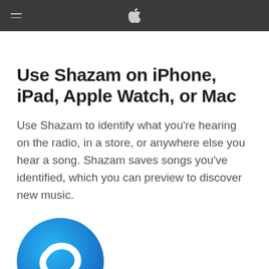Apple logo navigation header with hamburger menu
Use Shazam on iPhone, iPad, Apple Watch, or Mac
Use Shazam to identify what you're hearing on the radio, in a store, or anywhere else you hear a song. Shazam saves songs you've identified, which you can preview to discover new music.
[Figure (logo): Shazam app icon — blue circle with white stylized S-shaped waveform logo]
Shazam identifies a song by creating a unique digital